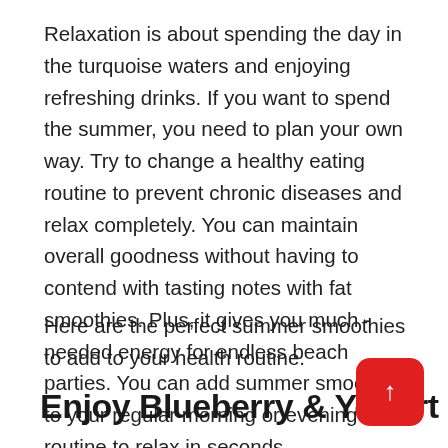Relaxation is about spending the day in the turquoise waters and enjoying refreshing drinks. If you want to spend the summer, you need to plan your own way. Try to change a healthy eating routine to prevent chronic diseases and relax completely. You can maintain overall goodness without having to contend with tasting notes with fat smoothies. Plus, it gives you much -needed energy for endless beach parties. You can add summer smoothies to your regular morning or evening routine to relax in seconds.
Here are the perfect summer smoothies to add to your health routine.
Enjoy Blueberry & Yogurt